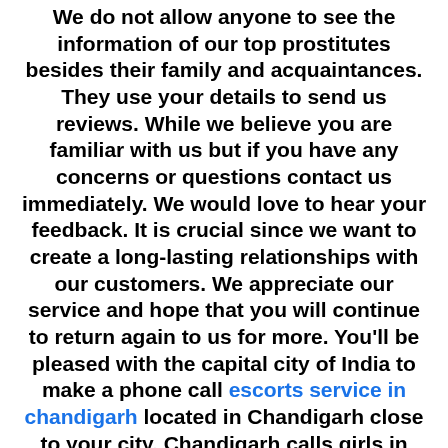We do not allow anyone to see the information of our top prostitutes besides their family and acquaintances. They use your details to send us reviews. While we believe you are familiar with us but if you have any concerns or questions contact us immediately. We would love to hear your feedback. It is crucial since we want to create a long-lasting relationships with our customers. We appreciate our service and hope that you will continue to return again to us for more. You'll be pleased with the capital city of India to make a phone call escorts service in chandigarh located in Chandigarh close to your city. Chandigarh calls girls in industrial zones We're launching next-generation sequencing that is 100% safe. We also urge them to consider having fun and fulfilling their desires. They aren't often given the chance to have fun sexually. As a mature prostitute of the housewife escorts in Chandigarh we have the obligation to provide the best service to our customers. We can meet every sexual desire of males. They are enjoyable to chat with and enjoy meeting new men. They have a high level of expertise and have a lot of their own experience. It is very boring and unpleasing today.